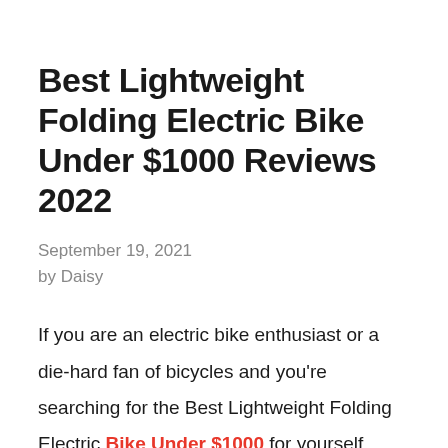Best Lightweight Folding Electric Bike Under $1000 Reviews 2022
September 19, 2021
by Daisy
If you are an electric bike enthusiast or a die-hard fan of bicycles and you're searching for the Best Lightweight Folding Electric Bike Under $1000 for yourself,